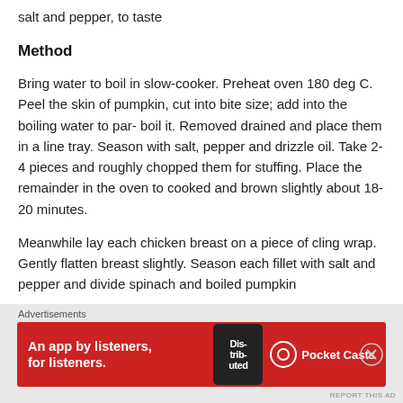salt and pepper, to taste
Method
Bring water to boil in slow-cooker. Preheat oven 180 deg C. Peel the skin of pumpkin, cut into bite size; add into the boiling water to par- boil it. Removed drained and place them in a line tray. Season with salt, pepper and drizzle oil. Take 2-4 pieces and roughly chopped them for stuffing. Place the remainder in the oven to cooked and brown slightly about 18-20 minutes.
Meanwhile lay each chicken breast on a piece of cling wrap. Gently flatten breast slightly. Season each fillet with salt and pepper and divide spinach and boiled pumpkin
Advertisements
[Figure (other): Advertisement banner for Pocket Casts app: red background with text 'An app by listeners, for listeners.' and Pocket Casts logo, with a phone image showing 'Dis-trib-uted']